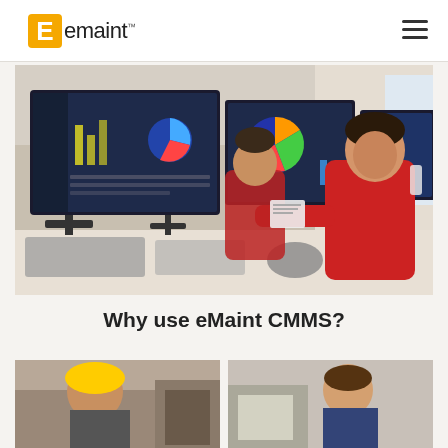eMaint logo and navigation
[Figure (photo): Two workers in red jumpsuits sitting at a control station with multiple monitors displaying maintenance dashboard software with charts and graphs]
Why use eMaint CMMS?
[Figure (photo): Two partially visible photos at the bottom of the page showing people in work settings]